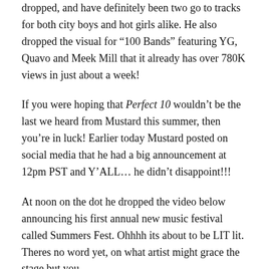dropped, and have definitely been two go to tracks for both city boys and hot girls alike. He also dropped the visual for “100 Bands” featuring YG, Quavo and Meek Mill that it already has over 780K views in just about a week!
If you were hoping that Perfect 10 wouldn’t be the last we heard from Mustard this summer, then you’re in luck! Earlier today Mustard posted on social media that he had a big announcement at 12pm PST and Y’ALL… he didn’t disappoint!!!
At noon on the dot he dropped the video below announcing his first annual new music festival called Summers Fest. Ohhhh its about to be LIT lit. Theres no word yet, on what artist might grace the stage but you